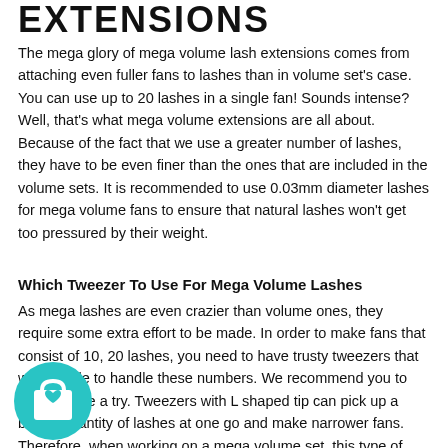EXTENSIONS
The mega glory of mega volume lash extensions comes from attaching even fuller fans to lashes than in volume set's case. You can use up to 20 lashes in a single fan! Sounds intense? Well, that's what mega volume extensions are all about. Because of the fact that we use a greater number of lashes, they have to be even finer than the ones that are included in the volume sets. It is recommended to use 0.03mm diameter lashes for mega volume fans to ensure that natural lashes won't get too pressured by their weight.
Which Tweezer To Use For Mega Volume Lashes
As mega lashes are even crazier than volume ones, they require some extra effort to be made. In order to make fans that consist of 10, 20 lashes, you need to have trusty tweezers that will be able to handle these numbers. We recommend you to give L curve a try. Tweezers with L shaped tip can pick up a bigger quantity of lashes at one go and make narrower fans. Therefore, when working on a mega volume set, this type of tweezers are a great option to bet on.
[Figure (illustration): Teal circular icon with a shopping bag with a heart symbol]